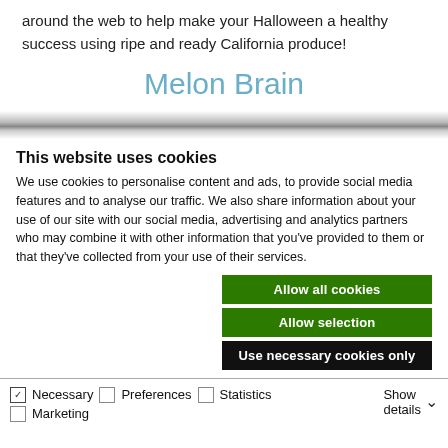around the web to help make your Halloween a healthy success using ripe and ready California produce!
Melon Brain
This website uses cookies
We use cookies to personalise content and ads, to provide social media features and to analyse our traffic. We also share information about your use of our site with our social media, advertising and analytics partners who may combine it with other information that you've provided to them or that they've collected from your use of their services.
Allow all cookies
Allow selection
Use necessary cookies only
Necessary  Preferences  Statistics  Marketing  Show details